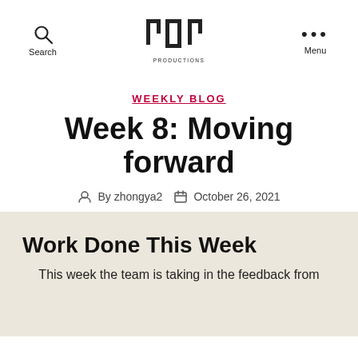Search | YOY Productions | Menu
WEEKLY BLOG
Week 8: Moving forward
By zhongya2   October 26, 2021
Work Done This Week
This week the team is taking in the feedback from